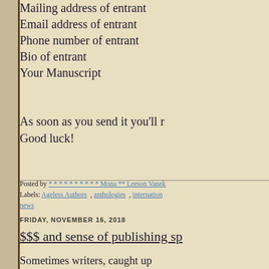Mailing address of entrant
Email address of entrant
Phone number of entrant
Bio of entrant
Your Manuscript
As soon as you send it you'll re Good luck!
Posted by * * * * * * * * * * Mona ** Leeson Vanek
Labels: Ageless Authors , anthologies , internation news
FRIDAY, NOVEMBER 16, 2018
$$$ and sense of publishing sp
Sometimes writers, caught up of things, forget that publishin with many financially-sensitiv ultimately deliver your article
Writing for corporation's speci career field. According to new spends $14 billion producing i